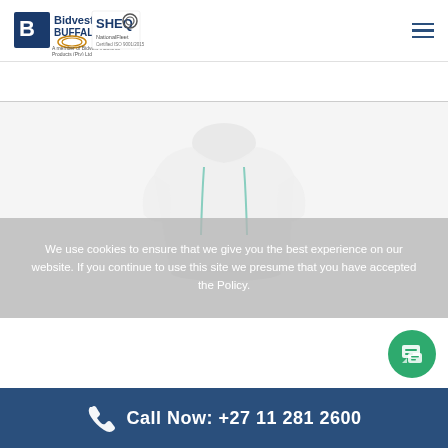[Figure (logo): Bidvest Buffalo and SHEQ NationalFleet logos in the page header]
[Figure (photo): Product image of a white safety item (appears to be a safety vest or reflective garment) on a light grey background]
We use cookies to ensure that we give you the best experience on our website. If you continue to use this site we presume that you have accepted the Policy.
Call Now: +27 11 281 2600